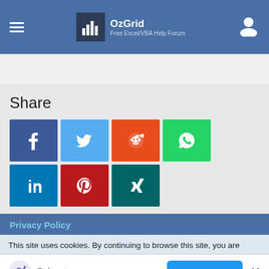OzGrid — Free Excel/VBA Help Forum
Share
[Figure (infographic): Social share buttons: Facebook, Twitter, Reddit, WhatsApp, LinkedIn, Pinterest, Xing]
Privacy Policy
This site uses cookies. By continuing to browse this site, you are
Relanote
Open